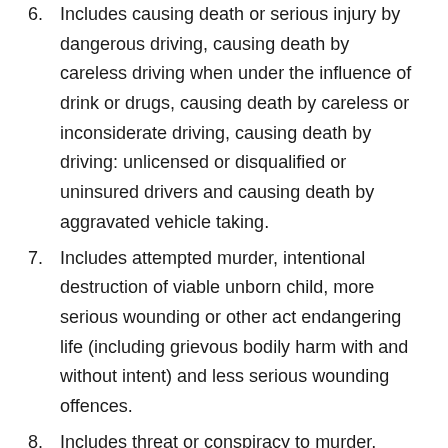6. Includes causing death or serious injury by dangerous driving, causing death by careless driving when under the influence of drink or drugs, causing death by careless or inconsiderate driving, causing death by driving: unlicensed or disqualified or uninsured drivers and causing death by aggravated vehicle taking.
7. Includes attempted murder, intentional destruction of viable unborn child, more serious wounding or other act endangering life (including grievous bodily harm with and without intent) and less serious wounding offences.
8. Includes threat or conspiracy to murder, other offences against children and assault without